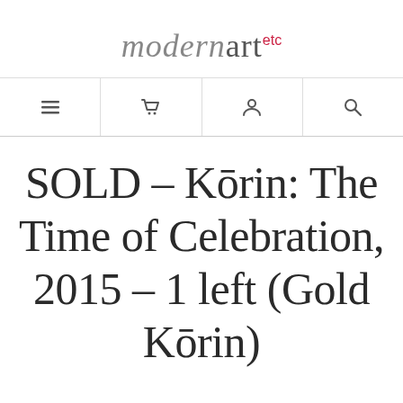modernart etc
[Figure (infographic): Navigation bar with four icons: hamburger menu, shopping cart, user/person, and search magnifying glass]
SOLD - Kōrin: The Time of Celebration, 2015 - 1 left (Gold Kōrin)